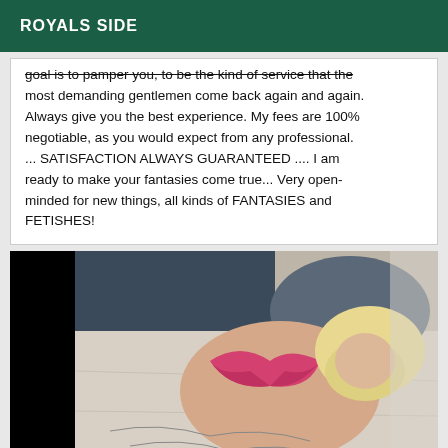ROYALS SIDE
goal is to pamper you, to be the kind of service that the most demanding gentlemen come back again and again. Always give you the best experience. My fees are 100% negotiable, as you would expect from any professional. ... SATISFACTION ALWAYS GUARANTEED .... I am ready to make your fantasies come true... Very open-minded for new things, all kinds of FANTASIES and FETISHES!
[Figure (photo): A person with blonde hair lying on a bed wearing a pink bra, partially obscured by a black border on the left side]